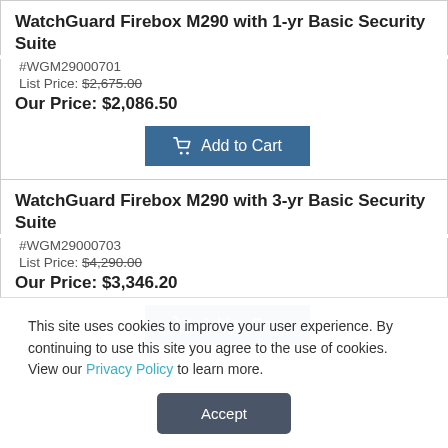WatchGuard Firebox M290 with 1-yr Basic Security Suite
#WGM29000701
List Price: $2,675.00
Our Price: $2,086.50
WatchGuard Firebox M290 with 3-yr Basic Security Suite
#WGM29000703
List Price: $4,290.00
Our Price: $3,346.20
This site uses cookies to improve your user experience. By continuing to use this site you agree to the use of cookies. View our Privacy Policy to learn more.